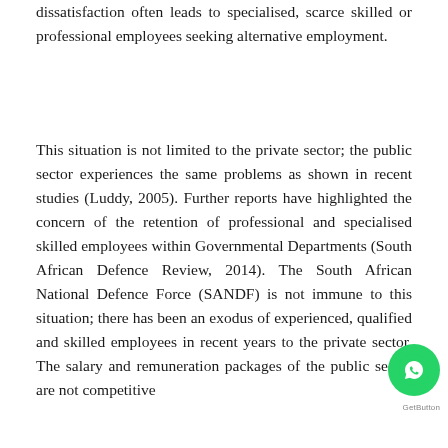dissatisfaction often leads to specialised, scarce skilled or professional employees seeking alternative employment.
This situation is not limited to the private sector; the public sector experiences the same problems as shown in recent studies (Luddy, 2005). Further reports have highlighted the concern of the retention of professional and specialised skilled employees within Governmental Departments (South African Defence Review, 2014). The South African National Defence Force (SANDF) is not immune to this situation; there has been an exodus of experienced, qualified and skilled employees in recent years to the private sector. The salary and remuneration packages of the public sector are not competitive